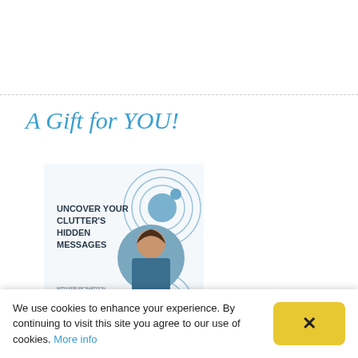A Gift for YOU!
[Figure (illustration): Book cover thumbnail: 'Uncover Your Clutter's Hidden Messages' with Keri Richardson, featuring circular design elements and a photo of a woman.]
We use cookies to enhance your experience. By continuing to visit this site you agree to our use of cookies. More info